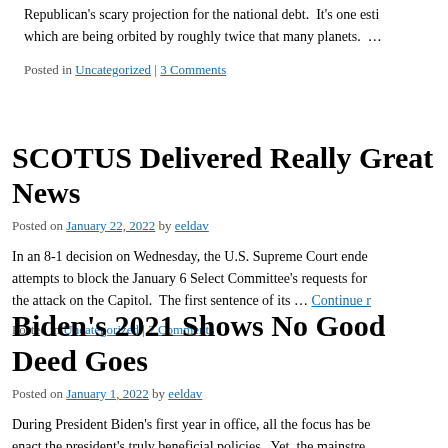Republican's scary projection for the national debt.  It's one esti which are being orbited by roughly twice that many planets.  …
Posted in Uncategorized | 3 Comments
SCOTUS Delivered Really Great News
Posted on January 22, 2022 by eeldav
In an 8-1 decision on Wednesday, the U.S. Supreme Court ende attempts to block the January 6 Select Committee's requests for the attack on the Capitol.  The first sentence of its … Continue r
Posted in Uncategorized | 2 Comments
Biden's 2021 Shows No Good Deed Goes
Posted on January 1, 2022 by eeldav
During President Biden's first year in office, all the focus has be enact the president's truly beneficial policies.  Yet, the mainstre